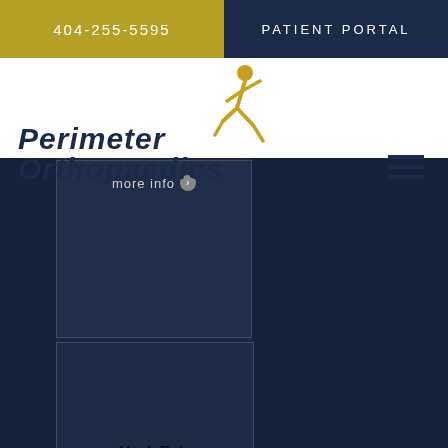404-255-5595 | PATIENT PORTAL
[Figure (logo): Perimeter Orthopaedics logo with running figure in gold and navy italic text]
more info
Neck Pain
more info